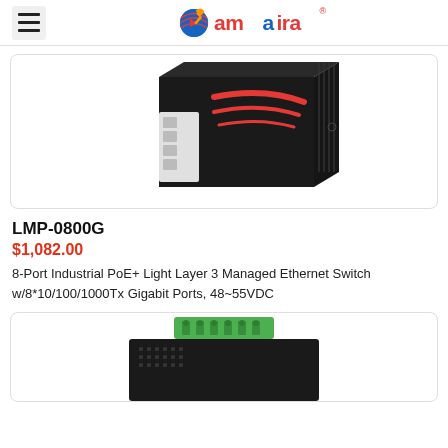amaira (logo)
[Figure (photo): Industrial PoE+ Ethernet switch (LMP-0800G) — black metal enclosure with red chevron markings and RJ45 ports on the left side, viewed at an angle.]
LMP-0800G
$1,082.00
8-Port Industrial PoE+ Light Layer 3 Managed Ethernet Switch w/8*10/100/1000Tx Gigabit Ports, 48~55VDC
[Figure (photo): Bottom portion of another industrial Ethernet switch — black enclosure with ventilation grilles and a green terminal block connector on top, partially visible.]